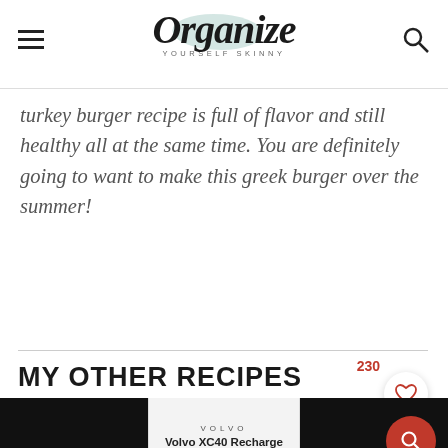Organize Yourself Skinny
turkey burger recipe is full of flavor and still healthy all at the same time. You are definitely going to want to make this greek burger over the summer!
MY OTHER RECIPES
[Figure (screenshot): Advertisement for Volvo XC40 Recharge Pure Electric flanked by two black image placeholders for recipe thumbnails]